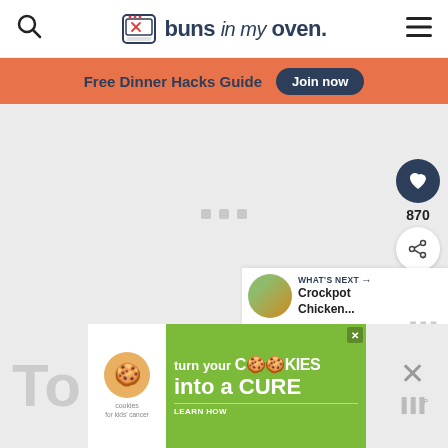buns in my oven — website header with search icon, logo, and hamburger menu
Free Dinner Hacks Guide Join now
[Figure (screenshot): Main content loading area with grey background and three small loading dots in the center]
870
WHAT'S NEXT → Crockpot Chicken...
To
[Figure (infographic): Advertisement banner: cookies for kids cancer — turn your cookies into a CURE LEARN HOW]